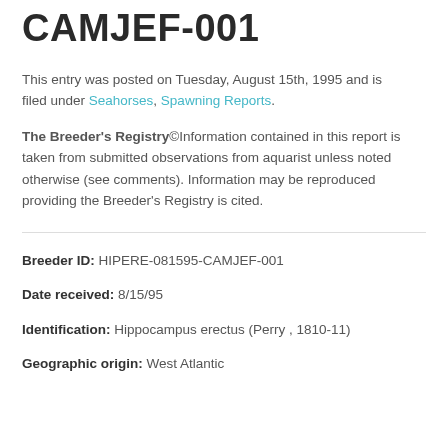CAMJEF-001
This entry was posted on Tuesday, August 15th, 1995 and is filed under Seahorses, Spawning Reports.
The Breeder's Registry©Information contained in this report is taken from submitted observations from aquarist unless noted otherwise (see comments). Information may be reproduced providing the Breeder's Registry is cited.
Breeder ID: HIPERE-081595-CAMJEF-001
Date received: 8/15/95
Identification: Hippocampus erectus (Perry , 1810-11)
Geographic origin: West Atlantic